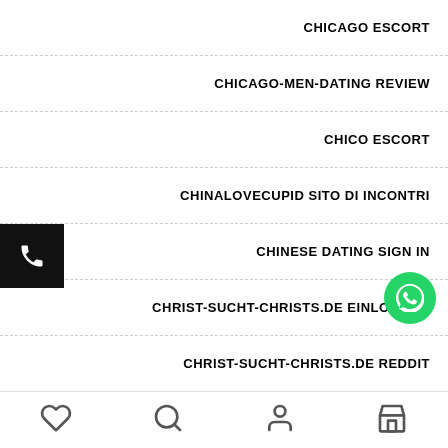CHICAGO ESCORT
CHICAGO-MEN-DATING REVIEW
CHICO ESCORT
CHINALOVECUPID SITO DI INCONTRI
CHINESE DATING SIGN IN
CHRIST-SUCHT-CHRISTS.DE EINLOGGEN
CHRIST-SUCHT-CHRISTS.DE REDDIT
CHRISTIAN CONNECTION REVISIONE
heart | search | profile | store